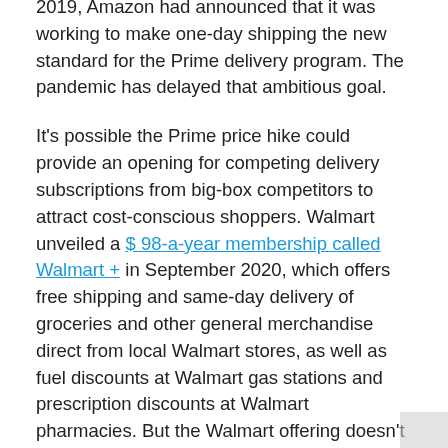2019, Amazon had announced that it was working to make one-day shipping the new standard for the Prime delivery program. The pandemic has delayed that ambitious goal.
It's possible the Prime price hike could provide an opening for competing delivery subscriptions from big-box competitors to attract cost-conscious shoppers. Walmart unveiled a $98-a-year membership called Walmart + in September 2020, which offers free shipping and same-day delivery of groceries and other general merchandise direct from local Walmart stores, as well as fuel discounts at Walmart gas stations and prescription discounts at Walmart pharmacies. But the Walmart offering doesn't include many of the other perks that come with Prime, such as the Prime Music and Prime Video streaming